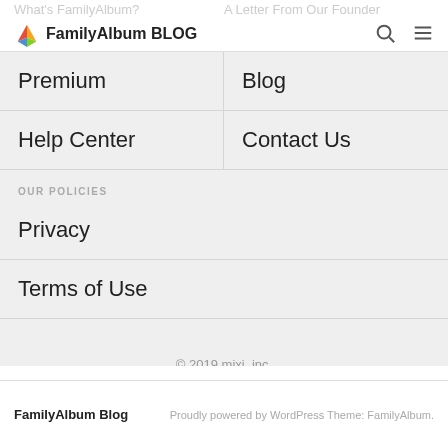FamilyAlbum BLOG
What's FamilyAlbum?
A Letter From Our Founder
Premium
Blog
Help Center
Contact Us
OUR POLICIES
Privacy
Terms of Use
© 2019 mixi, inc.
FamilyAlbum Blog    Proudly powered by WordPress Theme: FamilyAlbum.